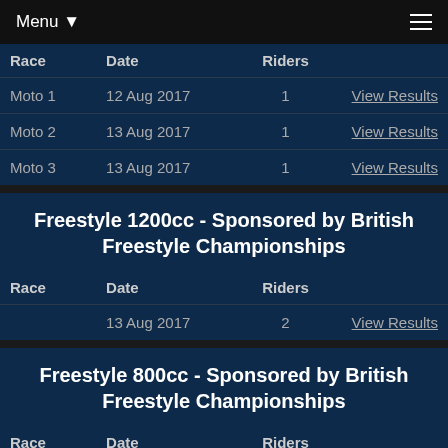Menu ▼
| Race | Date | Riders |  |
| --- | --- | --- | --- |
| Moto 1 | 12 Aug 2017 | 1 | View Results |
| Moto 2 | 13 Aug 2017 | 1 | View Results |
| Moto 3 | 13 Aug 2017 | 1 | View Results |
Freestyle 1200cc - Sponsored by British Freestyle Championships
| Race | Date | Riders |  |
| --- | --- | --- | --- |
|  | 13 Aug 2017 | 2 | View Results |
Freestyle 800cc - Sponsored by British Freestyle Championships
| Race | Date | Riders |  |
| --- | --- | --- | --- |
|  | 13 Aug 2017 | 1 | View Results |